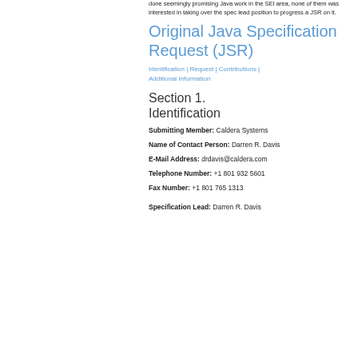done seemingly promising Java work in the SEI area, none of them was interested in taking over the spec lead position to progress a JSR on it.
Original Java Specification Request (JSR)
Identification | Request | Contributions | Additional Information
Section 1. Identification
Submitting Member: Caldera Systems
Name of Contact Person: Darren R. Davis
E-Mail Address: drdavis@caldera.com
Telephone Number: +1 801 932 5601
Fax Number: +1 801 765 1313
Specification Lead: Darren R. Davis